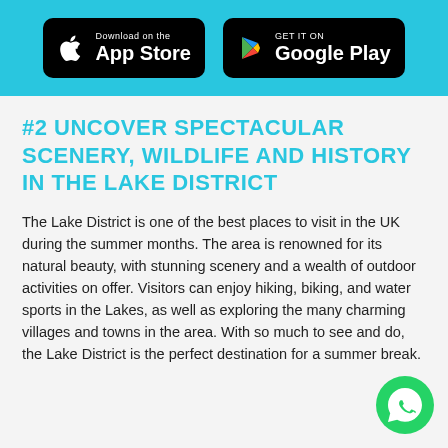[Figure (logo): App Store and Google Play download badges on a cyan/teal header bar]
#2 UNCOVER SPECTACULAR SCENERY, WILDLIFE AND HISTORY IN THE LAKE DISTRICT
The Lake District is one of the best places to visit in the UK during the summer months. The area is renowned for its natural beauty, with stunning scenery and a wealth of outdoor activities on offer. Visitors can enjoy hiking, biking, and water sports in the Lakes, as well as exploring the many charming villages and towns in the area. With so much to see and do, the Lake District is the perfect destination for a summer break.